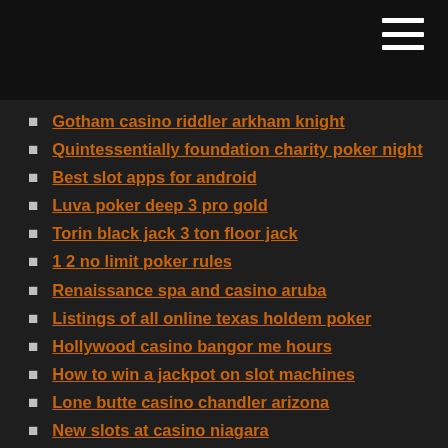Gotham casino riddler arkham knight
Quintessentially foundation charity poker night
Best slot apps for android
Luva poker deep 3 pro gold
Torin black jack 3 ton floor jack
1 2 no limit poker rules
Renaissance spa and casino aruba
Listings of all online texas holdem poker
Hollywood casino bangor me hours
How to win a jackpot on slot machines
Lone butte casino chandler arizona
New slots at casino niagara
Black jack tech diving aberdeen nc
Is twin river casino smoke free